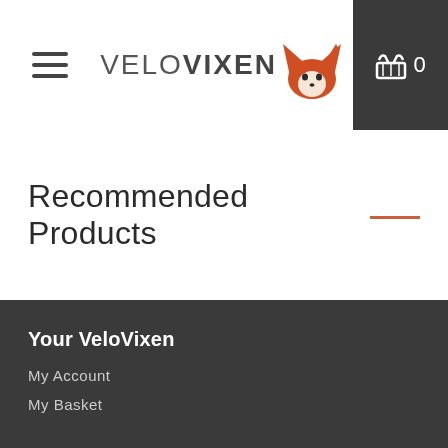VeloVixen — navigation header with hamburger menu and cart icon showing 0
Recommended Products —
Your VeloVixen
My Account
My Basket
Help & Information
Contact Us
Delivery & Shipping